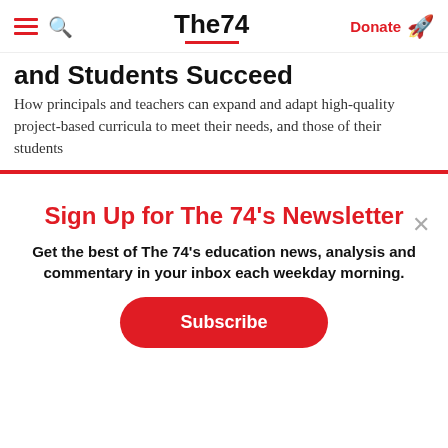The74 | Donate
and Students Succeed
How principals and teachers can expand and adapt high-quality project-based curricula to meet their needs, and those of their students
Sign Up for The 74's Newsletter
Get the best of The 74's education news, analysis and commentary in your inbox each weekday morning.
Subscribe